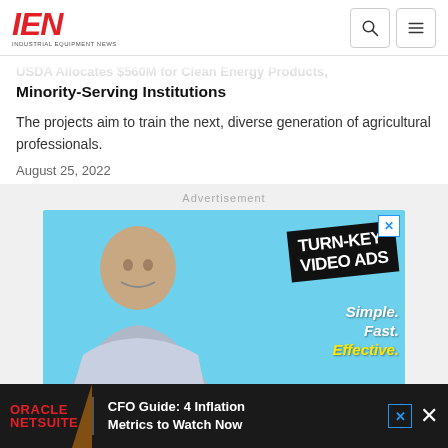IEN - Industrial Equipment News
USDA Allocates $560M for Clean Energy Products, Minority-Serving Institutions
The projects aim to train the next, diverse generation of agricultural professionals.
August 25, 2022
[Figure (photo): Advertisement banner: Man smiling with 'TURN-KEY VIDEO ADS' text on black diagonal banner, with 'Simple. Fast. Effective.' text on blue background]
[Figure (infographic): Oracle NetSuite bottom banner advertisement: CFO Guide: 4 Inflation Metrics to Watch Now]